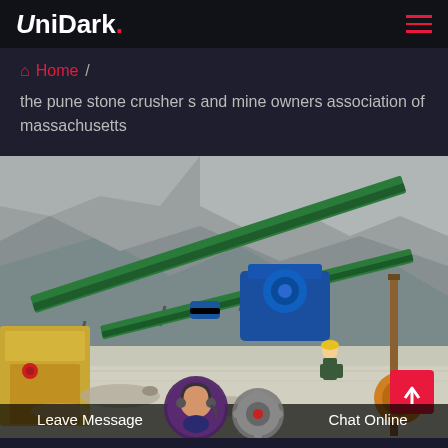UniDark.
Home / the pune stone crusher s and mine owners association of massachusetts
[Figure (photo): Aerial view of a stone crushing and mining facility with conveyor belts, blue machinery, yellow equipment, a worker in a hard hat, rocky terrain in the background, and two circular avatar overlays at the bottom with chat interface elements.]
Leave Message   Chat Online